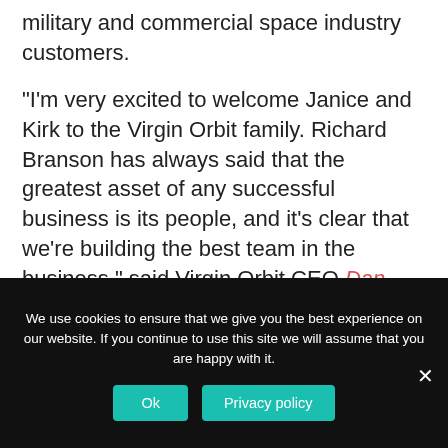military and commercial space industry customers.
"I'm very excited to welcome Janice and Kirk to the Virgin Orbit family. Richard Branson has always said that the greatest asset of any successful business is its people, and it's clear that we're building the best team in the business," said Virgin Orbit CEO Dan Hart. "We have now brought to the world a new way to launch, and this team is ready to get more customers into orbit and completely uproot everyone's expectations of what a launch
We use cookies to ensure that we give you the best experience on our website. If you continue to use this site we will assume that you are happy with it.